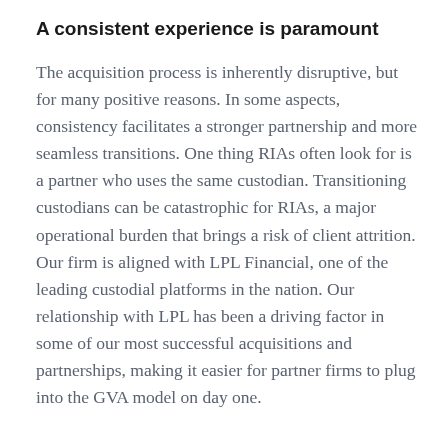A consistent experience is paramount
The acquisition process is inherently disruptive, but for many positive reasons. In some aspects, consistency facilitates a stronger partnership and more seamless transitions. One thing RIAs often look for is a partner who uses the same custodian. Transitioning custodians can be catastrophic for RIAs, a major operational burden that brings a risk of client attrition. Our firm is aligned with LPL Financial, one of the leading custodial platforms in the nation. Our relationship with LPL has been a driving factor in some of our most successful acquisitions and partnerships, making it easier for partner firms to plug into the GVA model on day one.